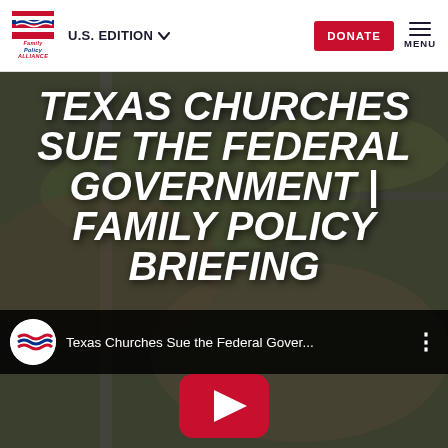Family Policy Alliance | U.S. EDITION | DONATE | MENU
TEXAS CHURCHES SUE THE FEDERAL GOVERNMENT | FAMILY POLICY BRIEFING
[Figure (screenshot): YouTube video thumbnail showing aerial photo of flooded Texas area with the video title 'Texas Churches Sue the Federal Gover...' and a YouTube play button]
Texas Churches Sue the Federal Gover...